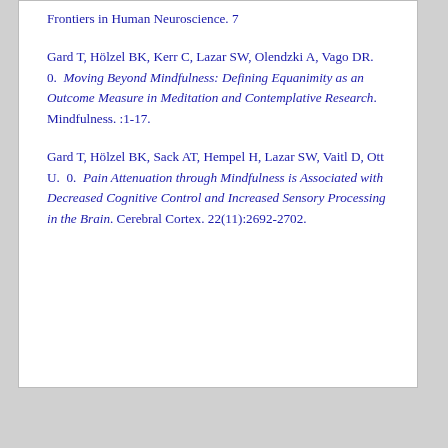Frontiers in Human Neuroscience. 7
Gard T, Hölzel BK, Kerr C, Lazar SW, Olendzki A, Vago DR.  0.  Moving Beyond Mindfulness: Defining Equanimity as an Outcome Measure in Meditation and Contemplative Research. Mindfulness. :1-17.
Gard T, Hölzel BK, Sack AT, Hempel H, Lazar SW, Vaitl D, Ott U.  0.  Pain Attenuation through Mindfulness is Associated with Decreased Cognitive Control and Increased Sensory Processing in the Brain. Cerebral Cortex. 22(11):2692-2702.